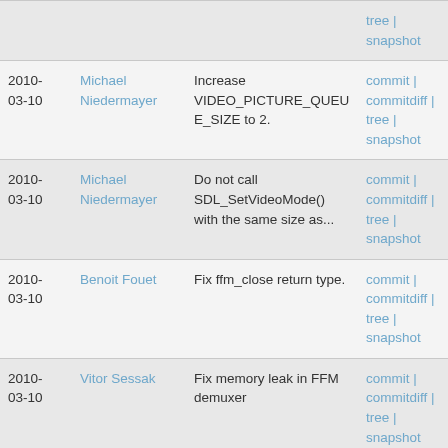| Date | Author | Description | Links |
| --- | --- | --- | --- |
|  |  |  | tree | snapshot |
| 2010-03-10 | Michael Niedermayer | Increase VIDEO_PICTURE_QUEUE_SIZE to 2. | commit | commitdiff | tree | snapshot |
| 2010-03-10 | Michael Niedermayer | Do not call SDL_SetVideoMode() with the same size as... | commit | commitdiff | tree | snapshot |
| 2010-03-10 | Benoit Fouet | Fix ffm_close return type. | commit | commitdiff | tree | snapshot |
| 2010-03-10 | Vitor Sessak | Fix memory leak in FFM demuxer | commit | commitdiff | tree | snapshot |
| 2010-03-10 | Måns Rullgård | undef av_always_inline before redefining | commit | commitdiff | tree | snapshot |